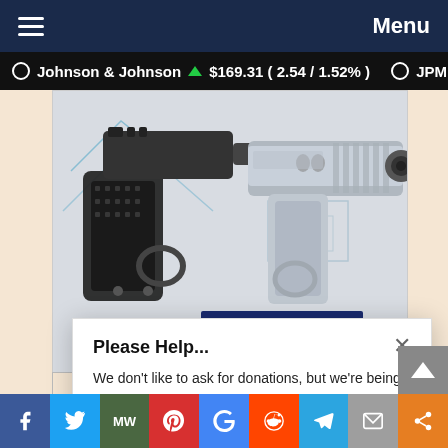Menu
Johnson & Johnson ▲ $169.31 ( 2.54 / 1.52% )   JPM
[Figure (photo): Advertisement showing two pistol handguns with geometric line graphics, and a 'Shop Now' button in navy blue.]
Please Help...
We don't like to ask for donations, but we're being silenced at every turn...
Thank you!